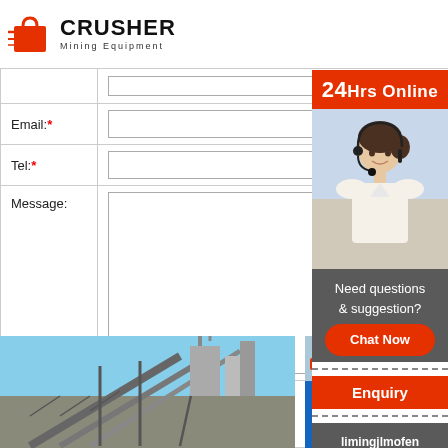[Figure (logo): Crusher Mining Equipment logo with shopping bag icon and bold text]
| Label | Input |
| --- | --- |
| Email:* | (text input field) |
| Tel:* | (text input field) |
| Message: | (textarea) |
|  | Submit button |
[Figure (infographic): 24Hrs Online customer service sidebar with photo of woman with headset, Need questions & suggestion?, Chat Now button, Enquiry section, limingjlmofen@sina.com email]
[Figure (photo): Photo of industrial conveyor belts and industrial plant against blue sky]
[Figure (photo): Photo of blue mining/crushing machinery equipment]